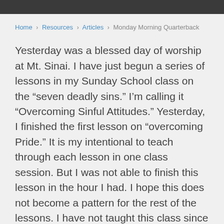Home › Resources › Articles › Monday Morning Quarterback
Yesterday was a blessed day of worship at Mt. Sinai. I have just begun a series of lessons in my Sunday School class on the “seven deadly sins.” I’m calling it “Overcoming Sinful Attitudes.” Yesterday, I finished the first lesson on “overcoming Pride.” It is my intentional to teach through each lesson in one class session. But I was not able to finish this lesson in the hour I had. I hope this does not become a pattern for the rest of the lessons. I have not taught this class since the summer of last year. But I am glad to be back with them. I really do enjoy teaching this Sunday School class. I have an